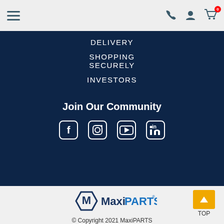Navigation header with hamburger menu, phone icon, user icon, cart icon (0)
DELIVERY
SHOPPING SECURELY
INVESTORS
Join Our Community
[Figure (infographic): Social media icons: Facebook, Instagram, YouTube, LinkedIn]
[Figure (logo): MaxiPARTS logo]
© Copyright 2021 MaxiPARTS
Powered by Customer Self Service from Commerce Vision
[Figure (other): Mastercard payment badge (partially visible)]